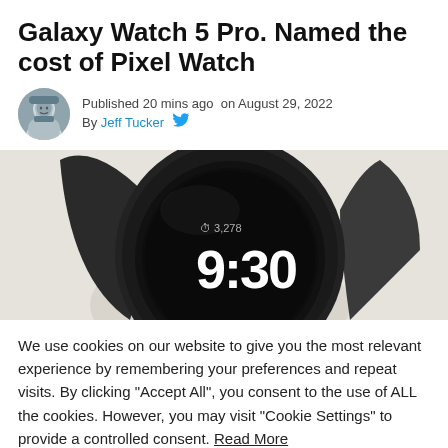Galaxy Watch 5 Pro. Named the cost of Pixel Watch
Published 20 mins ago on August 29, 2022
By Jeff Tucker
[Figure (photo): Close-up photo of a smartwatch (Pixel Watch) showing the time 9:30 and step count 3,278 on a round AMOLED display with a dark band, on a light beige background.]
We use cookies on our website to give you the most relevant experience by remembering your preferences and repeat visits. By clicking "Accept All", you consent to the use of ALL the cookies. However, you may visit "Cookie Settings" to provide a controlled consent. Read More